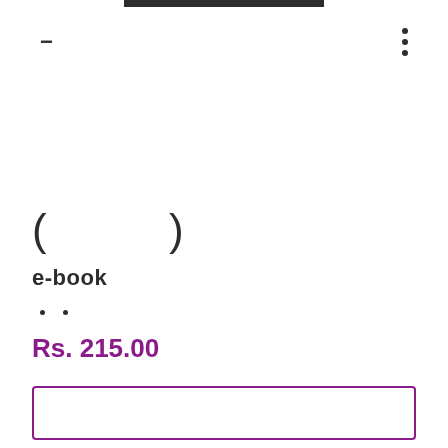[Figure (screenshot): Top navigation bar with dark horizontal bar at top center, minus icon on left, vertical three-dot menu on right]
(        )
e-book
. .
Rs. 215.00
[Figure (other): Empty rectangular button with purple border at bottom of page]